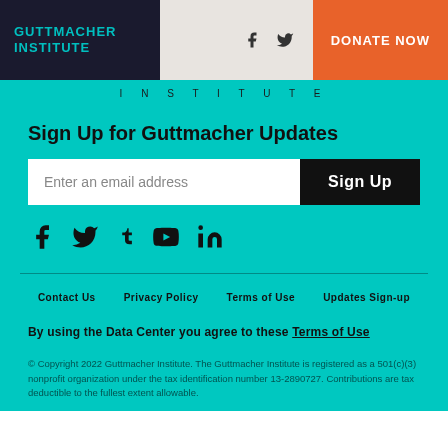GUTTMACHER INSTITUTE
INSTITUTE
Sign Up for Guttmacher Updates
Enter an email address  Sign Up
[Figure (infographic): Social media icons: Facebook, Twitter, Tumblr, YouTube, LinkedIn]
Contact Us   Privacy Policy   Terms of Use   Updates Sign-up
By using the Data Center you agree to these Terms of Use
© Copyright 2022 Guttmacher Institute. The Guttmacher Institute is registered as a 501(c)(3) nonprofit organization under the tax identification number 13-2890727. Contributions are tax deductible to the fullest extent allowable.